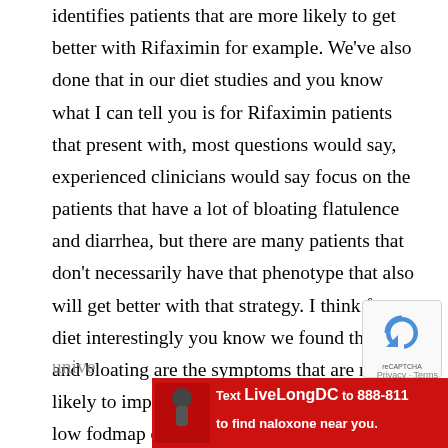identifies patients that are more likely to get better with Rifaximin for example. We've also done that in our diet studies and you know what I can tell you is for Rifaximin patients that present with, most questions would say, experienced clinicians would say focus on the patients that have a lot of bloating flatulence and diarrhea, but there are many patients that don't necessarily have that phenotype that also will get better with that strategy. I think for diet interestingly you know we found that pain and bloating are the symptoms that are most likely to improve with, like for example the low fodmap diet, so you know it's pain and bloating are sort of the big ones that we tend to think about it and go after, but they
[Figure (other): Advertisement banner at the bottom: red background, text 'Text LiveLongDC to 888-811 to find naloxone near you.' with a microphone image and DOH logo. An X close button appears in the top right corner.]